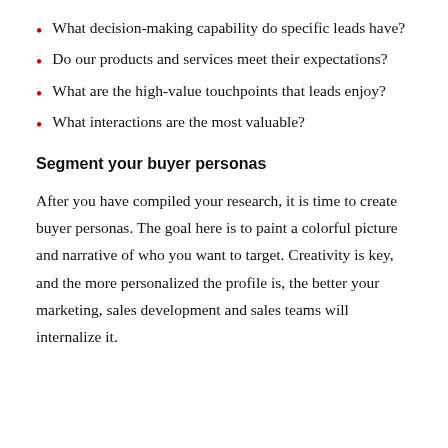What decision-making capability do specific leads have?
Do our products and services meet their expectations?
What are the high-value touchpoints that leads enjoy?
What interactions are the most valuable?
Segment your buyer personas
After you have compiled your research, it is time to create buyer personas. The goal here is to paint a colorful picture and narrative of who you want to target. Creativity is key, and the more personalized the profile is, the better your marketing, sales development and sales teams will internalize it.